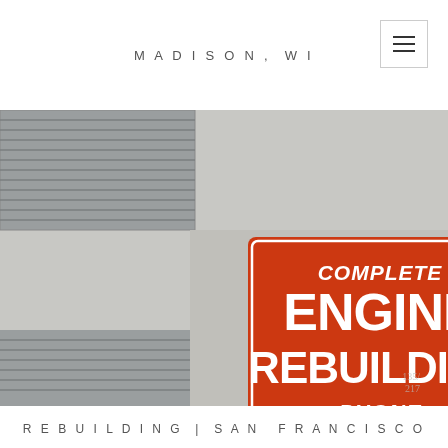MADISON, WI
[Figure (photo): Street-level photograph of a building facade showing a red rectangular sign reading 'COMPLETE ENGINE REBUILDING PHONE 550-6999 550-7733' in white bold text, with metal roll-up garage shutters visible on the right side and windows with horizontal blinds on the left. Numbers 135/217 visible in lower right corner of photo.]
REBUILDING | SAN FRANCISCO